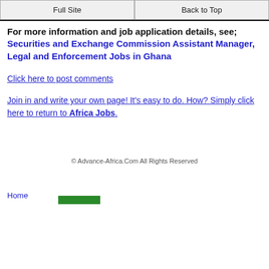Full Site | Back to Top
For more information and job application details, see; Securities and Exchange Commission Assistant Manager, Legal and Enforcement Jobs in Ghana
Click here to post comments
Join in and write your own page! It's easy to do. How? Simply click here to return to Africa Jobs.
© Advance-Africa.Com All Rights Reserved
Home